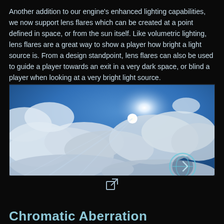Another addition to our engine's enhanced lighting capabilities, we now support lens flares which can be created at a point defined in space, or from the sun itself. Like volumetric lighting, lens flares are a great way to show a player how bright a light source is. From a design standpoint, lens flares can also be used to guide a player towards an exit in a very dark space, or blind a player when looking at a very bright light source.
[Figure (photo): Sky view photograph showing white cumulus clouds against a deep blue sky with a bright sun glare visible through the clouds, creating lens flare effect. A circular logo/watermark appears in the lower right corner.]
Chromatic Aberration